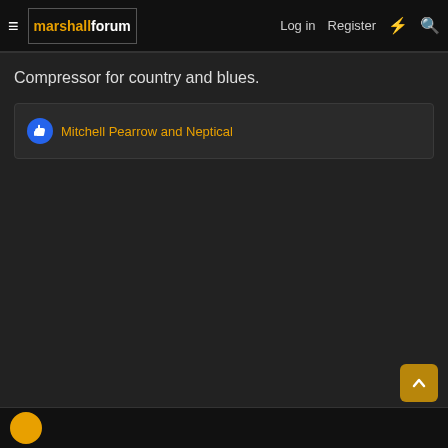Marshall Forum — Log in | Register
Compressor for country and blues.
Mitchell Pearrow and Neptical